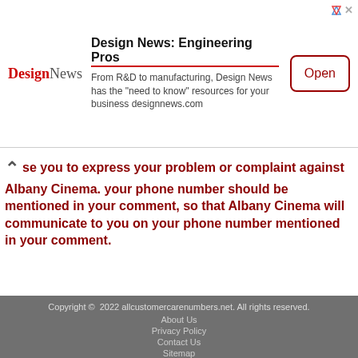[Figure (other): Design News advertisement banner with logo, description text, and Open button]
se you to express your problem or complaint against Albany Cinema. your phone number should be mentioned in your comment, so that Albany Cinema will communicate to you on your phone number mentioned in your comment.
Copyright © 2022 allcustomercarenumbers.net. All rights reserved.
About Us
Privacy Policy
Contact Us
Sitemap
[Figure (other): Post Your Complaint button with pencil and notepad icon]